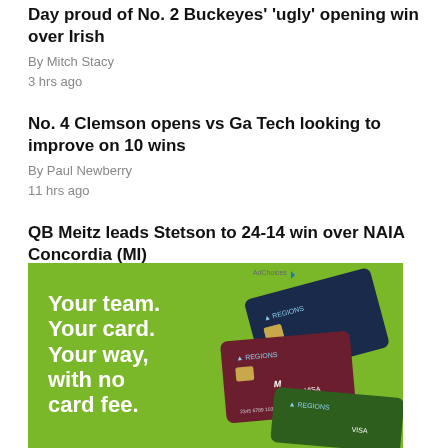Day proud of No. 2 Buckeyes' 'ugly' opening win over Irish
By Mitch Stacy
3 hrs ago
No. 4 Clemson opens vs Ga Tech looking to improve on 10 wins
By Paul Newberry
11 hrs ago
QB Meitz leads Stetson to 24-14 win over NAIA Concordia (MI)
11 hrs ago
[Figure (photo): Advertisement banner for Regions Bank credit cards showing Auburn, State, and other team-branded Visa cards with text 'Your team. Your card. Your way, with no card fee.']